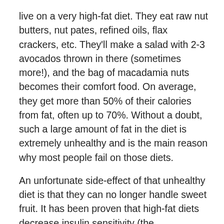live on a very high-fat diet. They eat raw nut butters, nut pates, refined oils, flax crackers, etc. They'll make a salad with 2-3 avocados thrown in there (sometimes more!), and the bag of macadamia nuts becomes their comfort food. On average, they get more than 50% of their calories from fat, often up to 70%. Without a doubt, such a large amount of fat in the diet is extremely unhealthy and is the main reason why most people fail on those diets.
An unfortunate side-effect of that unhealthy diet is that they can no longer handle sweet fruit. It has been proven that high-fat diets decrease insulin sensitivity (the effectiveness of insulin in carrying sugar to the cells), and thus raise blood sugar levels. 1
So those living on high-fat diets, that is, most raw-foodists, will inevitably experience more blood sugar